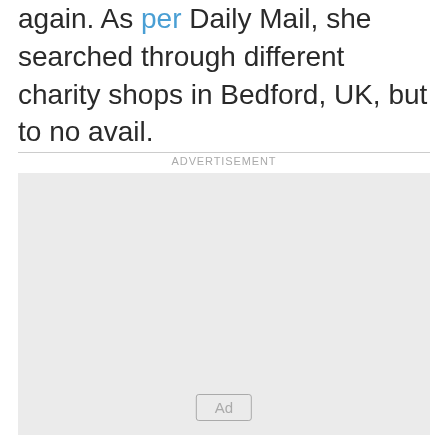again. As per Daily Mail, she searched through different charity shops in Bedford, UK, but to no avail.
[Figure (other): Advertisement placeholder box with 'ADVERTISEMENT' label above and 'Ad' badge inside the gray box]